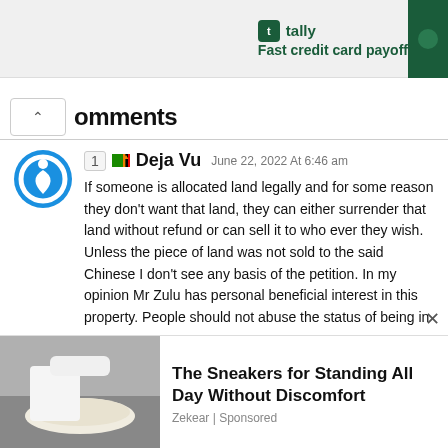[Figure (screenshot): Tally app advertisement banner with logo and 'Fast credit card payoff' tagline]
omments
1 🇿🇲 Deja Vu  June 22, 2022 At 6:46 am

If someone is allocated land legally and for some reason they don't want that land, they can either surrender that land without refund or can sell it to who ever they wish. Unless the piece of land was not sold to the said Chinese I don't see any basis of the petition. In my opinion Mr Zulu has personal beneficial interest in this property. People should not abuse the status of being in power.
[Figure (infographic): Thumbs up icon with count 6 and thumbs down icon for voting]
[Figure (screenshot): Advertisement: The Sneakers for Standing All Day Without Discomfort by Zekear | Sponsored, with shoe image]